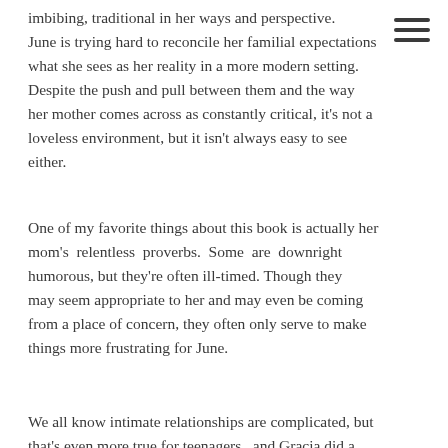imbibing traditional in her ways and perspective. June is trying hard to reconcile her familial expectations what she sees as her reality in a more modern setting. Despite the push and pull between them and the way her mother comes across as constantly critical, it's not a loveless environment, but it isn't always easy to see either.
One of my favorite things about this book is actually her mom's relentless proverbs. Some are downright humorous, but they're often ill-timed. Though they may seem appropriate to her and may even be coming from a place of concern, they often only serve to make things more frustrating for June.
We all know intimate relationships are complicated, but that's even more true for teenagers.. and Gracia did a